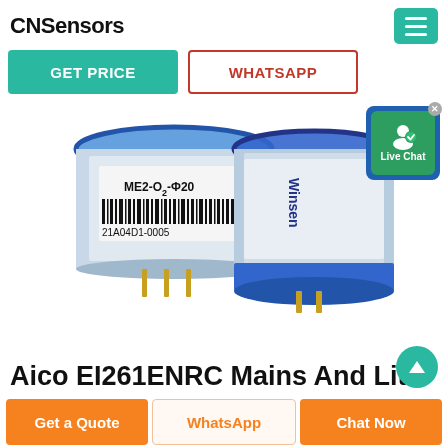CNSensors
GET PRICE
WHATSAPP
[Figure (photo): Two cylindrical oxygen sensor modules (ME2-O2-Φ20) with blue metallic tops and silver bodies with barcode labels. One faces left showing label text and barcode, one faces right showing the brand 'Winsen'. Both have gold metal pins at bottom.]
Aico EI261ENRC Mains And Lith
Get a Quote
WhatsApp
Chat Now